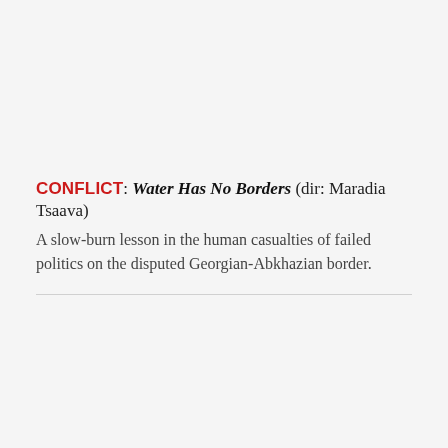CONFLICT: Water Has No Borders (dir: Maradia Tsaava) A slow-burn lesson in the human casualties of failed politics on the disputed Georgian-Abkhazian border.